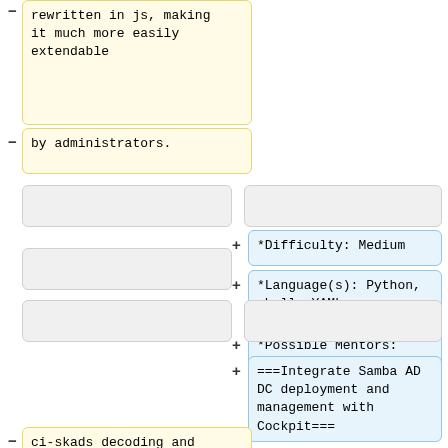rewritten in js, making it much more easily extendable
by administrators.
(empty gray box left)
(empty gray box right)
*Difficulty: Medium
*Language(s): Python, shell, YAML
*Possible Mentors: Andrew Bartlett
(empty gray box left 2)
(empty gray box right 2)
===Integrate Samba AD DC deployment and management with Cockpit===
ci-skads decoding and